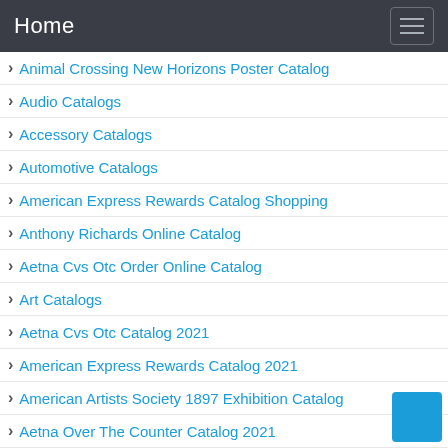Home
Animal Crossing New Horizons Poster Catalog
Audio Catalogs
Accessory Catalogs
Automotive Catalogs
American Express Rewards Catalog Shopping
Anthony Richards Online Catalog
Aetna Cvs Otc Order Online Catalog
Art Catalogs
Aetna Cvs Otc Catalog 2021
American Express Rewards Catalog 2021
American Artists Society 1897 Exhibition Catalog
Aetna Over The Counter Catalog 2021